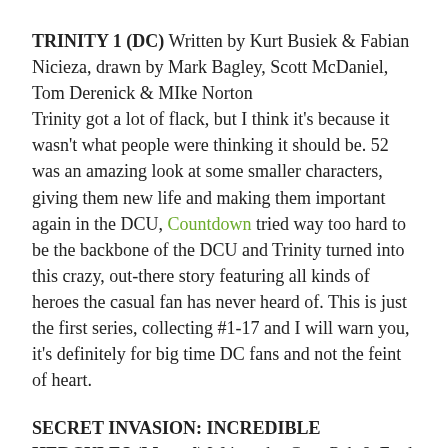TRINITY 1 (DC) Written by Kurt Busiek & Fabian Nicieza, drawn by Mark Bagley, Scott McDaniel, Tom Derenick & MIke Norton
Trinity got a lot of flack, but I think it's because it wasn't what people were thinking it should be. 52 was an amazing look at some smaller characters, giving them new life and making them important again in the DCU, Countdown tried way too hard to be the backbone of the DCU and Trinity turned into this crazy, out-there story featuring all kinds of heroes the casual fan has never heard of. This is just the first series, collecting #1-17 and I will warn you, it's definitely for big time DC fans and not the feint of heart.
SECRET INVASION: INCREDIBLE HERCULES (Marvel) Written by Greg Pak & Fred Van Lente, drawn by Rafa Sandoval
Incredible Herc was one of those books that everyone